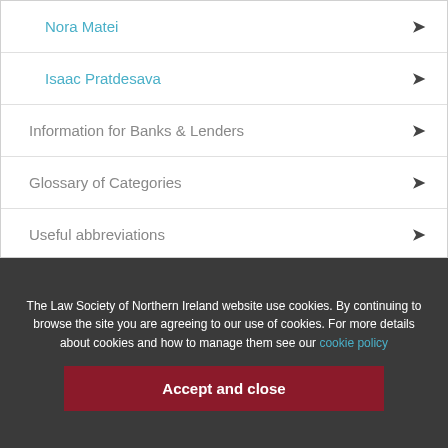Nora Matei
Isaac Pratdesava
Information for Banks & Lenders
Glossary of Categories
Useful abbreviations
Disclaimer
The Law Society of Northern Ireland website use cookies. By continuing to browse the site you are agreeing to our use of cookies. For more details about cookies and how to manage them see our cookie policy
Accept and close